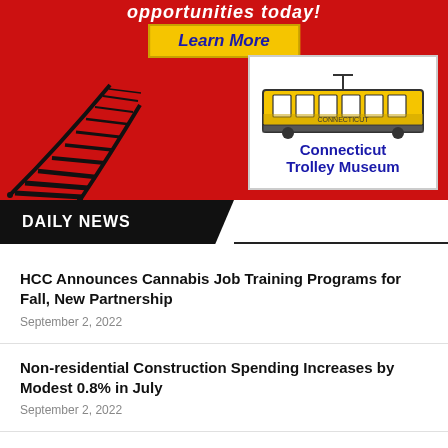[Figure (illustration): Connecticut Trolley Museum advertisement banner on red background with 'Learn More' yellow button and trolley car logo with railway tracks illustration]
DAILY NEWS
HCC Announces Cannabis Job Training Programs for Fall, New Partnership
September 2, 2022
Non-residential Construction Spending Increases by Modest 0.8% in July
September 2, 2022
Eversource Works to Address Hazardous...